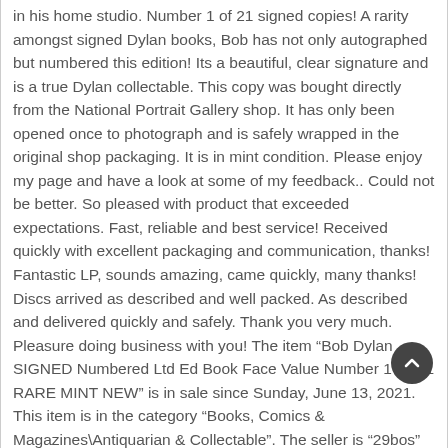in his home studio. Number 1 of 21 signed copies! A rarity amongst signed Dylan books, Bob has not only autographed but numbered this edition! Its a beautiful, clear signature and is a true Dylan collectable. This copy was bought directly from the National Portrait Gallery shop. It has only been opened once to photograph and is safely wrapped in the original shop packaging. It is in mint condition. Please enjoy my page and have a look at some of my feedback.. Could not be better. So pleased with product that exceeded expectations. Fast, reliable and best service! Received quickly with excellent packaging and communication, thanks! Fantastic LP, sounds amazing, came quickly, many thanks! Discs arrived as described and well packed. As described and delivered quickly and safely. Thank you very much. Pleasure doing business with you! The item “Bob Dylan SIGNED Numbered Ltd Ed Book Face Value Number 1 Of 21 RARE MINT NEW” is in sale since Sunday, June 13, 2021. This item is in the category “Books, Comics & Magazines\Antiquarian & Collectable”. The seller is “29bos” and is located in Lewes. This item can be shipped